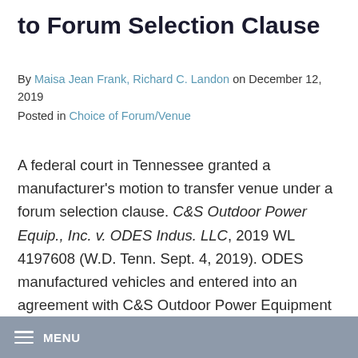to Forum Selection Clause
By Maisa Jean Frank, Richard C. Landon on December 12, 2019
Posted in Choice of Forum/Venue
A federal court in Tennessee granted a manufacturer's motion to transfer venue under a forum selection clause. C&S Outdoor Power Equip., Inc. v. ODES Indus. LLC, 2019 WL 4197608 (W.D. Tenn. Sept. 4, 2019). ODES manufactured vehicles and entered into an agreement with C&S Outdoor Power Equipment authorizing it as a dealer for